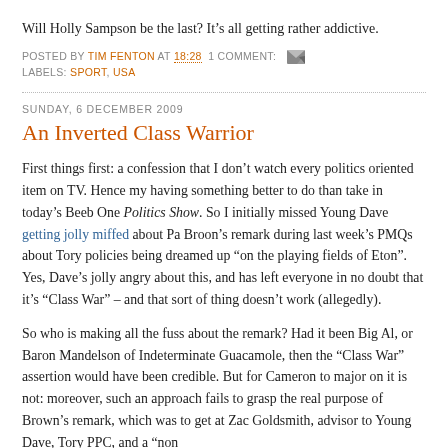Will Holly Sampson be the last? It’s all getting rather addictive.
POSTED BY TIM FENTON AT 18:28  1 COMMENT:
LABELS: SPORT, USA
SUNDAY, 6 DECEMBER 2009
An Inverted Class Warrior
First things first: a confession that I don’t watch every politics oriented item on TV. Hence my having something better to do than take in today’s Beeb One Politics Show. So I initially missed Young Dave getting jolly miffed about Pa Broon’s remark during last week’s PMQs about Tory policies being dreamed up “on the playing fields of Eton”. Yes, Dave’s jolly angry about this, and has left everyone in no doubt that it’s “Class War” – and that sort of thing doesn’t work (allegedly).
So who is making all the fuss about the remark? Had it been Big Al, or Baron Mandelson of Indeterminate Guacamole, then the “Class War” assertion would have been credible. But for Cameron to major on it is not: moreover, such an approach fails to grasp the real purpose of Brown’s remark, which was to get at Zac Goldsmith, advisor to Young Dave, Tory PPC, and a “non